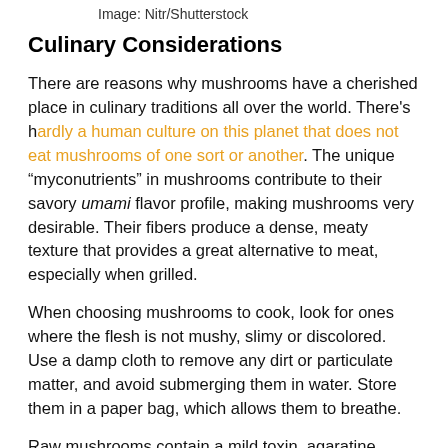Image: Nitr/Shutterstock
Culinary Considerations
There are reasons why mushrooms have a cherished place in culinary traditions all over the world. There's hardly a human culture on this planet that does not eat mushrooms of one sort or another. The unique “myconutrients” in mushrooms contribute to their savory umami flavor profile, making mushrooms very desirable. Their fibers produce a dense, meaty texture that provides a great alternative to meat, especially when grilled.
When choosing mushrooms to cook, look for ones where the flesh is not mushy, slimy or discolored. Use a damp cloth to remove any dirt or particulate matter, and avoid submerging them in water. Store them in a paper bag, which allows them to breathe.
Raw mushrooms contain a mild toxin, agaratine, which is